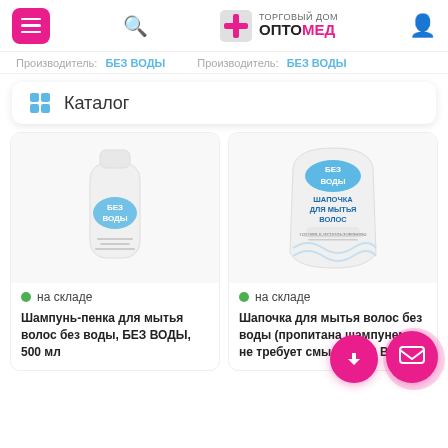Торговый дом ОПТОМЕД
Производитель: БЕЗ ВОДЫ   Производитель: БЕЗ ВОДЫ
Каталог
[Figure (photo): Product photo: white bottle with 'БЕЗ ВОДЫ' label (Шампунь-пенка для мытья волос без воды)]
• на складе
Шампунь-пенка для мытья волос без воды, БЕЗ ВОДЫ, 500 мл
[Figure (photo): Product photo: white package with 'БЕЗ ВОДЫ' label (Шапочка для мытья волос)]
• на складе
Шапочка для мытья волос без воды (пропитана шампунем и не требует смыва) БЕЗ ВОДЫ